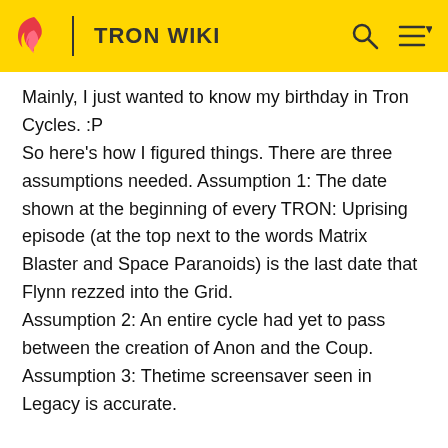TRON WIKI
Mainly, I just wanted to know my birthday in Tron Cycles. :P
So here's how I figured things. There are three assumptions needed. Assumption 1: The date shown at the beginning of every TRON: Uprising episode (at the top next to the words Matrix Blaster and Space Paranoids) is the last date that Flynn rezzed into the Grid.
Assumption 2: An entire cycle had yet to pass between the creation of Anon and the Coup.
Assumption 3: Thetime screensaver seen in Legacy is accurate.